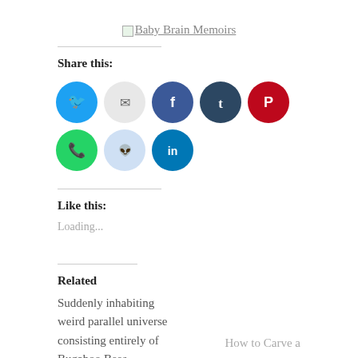[Figure (logo): Baby Brain Memoirs logo link with small image icon]
Share this:
[Figure (infographic): Row of social share icon circles: Twitter (blue), Email (light grey), Facebook (blue), Tumblr (dark navy), Pinterest (red), WhatsApp (green), Reddit (light blue), LinkedIn (dark blue)]
Like this:
Loading...
Related
Suddenly inhabiting weird parallel universe consisting entirely of Bugaboo Bees
Well the World Cup has
How to Carve a